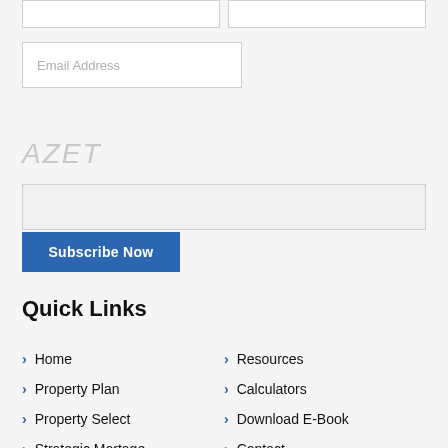[Figure (screenshot): Two empty input boxes side by side at top of page]
[Figure (screenshot): Email Address input field with placeholder text]
AZET
[Figure (screenshot): Captcha input box]
Subscribe Now
Quick Links
Home
Property Plan
Property Select
Strategic Mortage
Resources
Calculators
Download E-Book
Contact